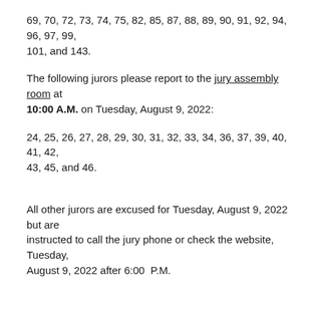69, 70, 72, 73, 74, 75, 82, 85, 87, 88, 89, 90, 91, 92, 94, 96, 97, 99, 101, and 143.
The following jurors please report to the jury assembly room at 10:00 A.M. on Tuesday, August 9, 2022:
24, 25, 26, 27, 28, 29, 30, 31, 32, 33, 34, 36, 37, 39, 40, 41, 42, 43, 45, and 46.
All other jurors are excused for Tuesday, August 9, 2022 but are instructed to call the jury phone or check the website, Tuesday, August 9, 2022 after 6:00  P.M.